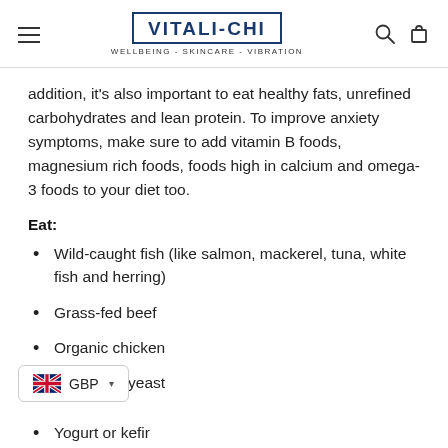VITALI-CHI | WELLBEING - SKINCARE - VIBRATION
addition, it’s also important to eat healthy fats, unrefined carbohydrates and lean protein. To improve anxiety symptoms, make sure to add vitamin B foods, magnesium rich foods, foods high in calcium and omega-3 foods to your diet too.
Eat:
Wild-caught fish (like salmon, mackerel, tuna, white fish and herring)
Grass-fed beef
Organic chicken
Nutritional yeast
Yogurt or kefir